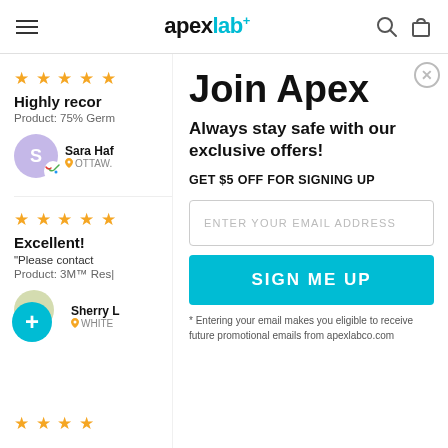apexlab+ [navigation header with hamburger menu, logo, search and bag icons]
★★★★★
Highly recor
Product: 75% Germ
Sara Haf
OTTAW.
★★★★★
Excellent!
"Please contact
Product: 3M™ Res|
Sherry L
WHITE
Join Apex
Always stay safe with our exclusive offers!
GET $5 OFF FOR SIGNING UP
ENTER YOUR EMAIL ADDRESS
SIGN ME UP
* Entering your email makes you eligible to receive future promotional emails from apexlabco.com